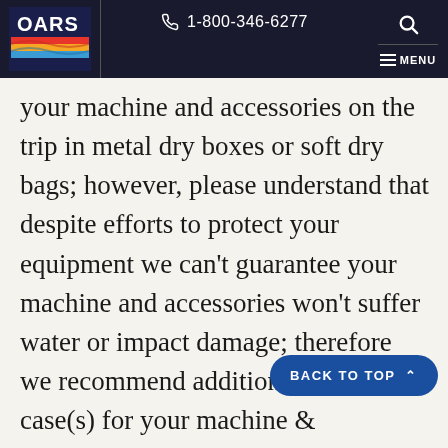OARS | 1-800-346-6277 | MENU
your machine and accessories on the trip in metal dry boxes or soft dry bags; however, please understand that despite efforts to protect your equipment we can't guarantee your machine and accessories won't suffer water or impact damage; therefore we recommend additional protective case(s) for your machine & accessories.  Additionally, on trips lasting longer than five or six days multiple batteries or a charg likely be required.  Solar chargers are